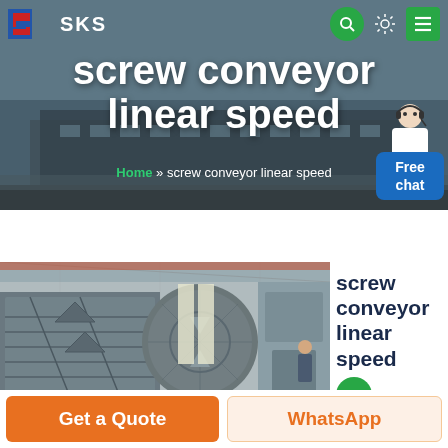SKS
screw conveyor linear speed
Home » screw conveyor linear speed
[Figure (photo): Industrial machinery photo showing large vibrating screen equipment and processing machines inside a factory/warehouse setting]
screw conveyor linear speed
Get a Quote
WhatsApp